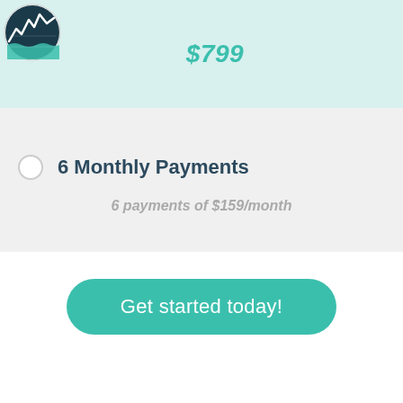[Figure (logo): Circular logo with mountain/wave financial chart graphic in dark teal and white]
$799
6 Monthly Payments
6 payments of $159/month
Get started today!